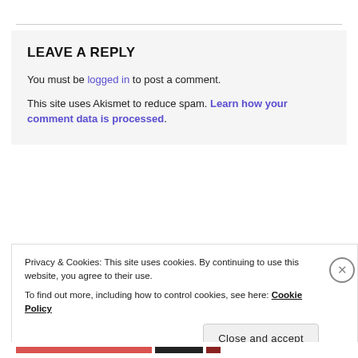LEAVE A REPLY
You must be logged in to post a comment.
This site uses Akismet to reduce spam. Learn how your comment data is processed.
Privacy & Cookies: This site uses cookies. By continuing to use this website, you agree to their use.
To find out more, including how to control cookies, see here: Cookie Policy
Close and accept